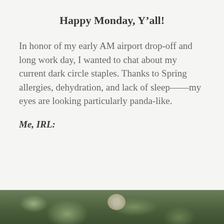Happy Monday, Y’all!
In honor of my early AM airport drop-off and long work day, I wanted to chat about my current dark circle staples. Thanks to Spring allergies, dehydration, and lack of sleep——my eyes are looking particularly panda-like.
Me, IRL:
[Figure (photo): Bottom portion of a photo showing green leafy plants/foliage with what appears to be an animal (panda) partially visible at the bottom center of the image.]